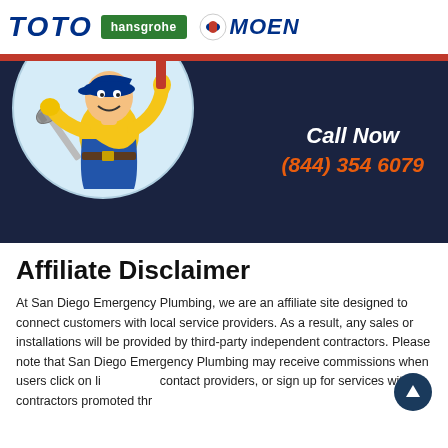[Figure (logo): Brand logos: TOTO (blue italic), hansgrohe (green), MOEN (blue with icon)]
[Figure (illustration): Cartoon plumber in yellow shirt and blue overalls holding a red pipe wrench, with wrenches on the left, set against a light blue circular background. Dark navy banner behind with 'Call Now (844) 354 6079' text on the right.]
Call Now
(844) 354 6079
Affiliate Disclaimer
At San Diego Emergency Plumbing, we are an affiliate site designed to connect customers with local service providers. As a result, any sales or installations will be provided by third-party independent contractors. Please note that San Diego Emergency Plumbing may receive commissions when users click on links, contact providers, or sign up for services with contractors promoted through our